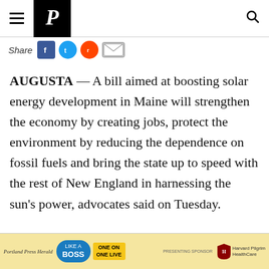Portland Press Herald navigation bar with hamburger menu, P logo, and search icon
Share [Facebook] [Twitter] [Reddit] [Email]
AUGUSTA — A bill aimed at boosting solar energy development in Maine will strengthen the economy by creating jobs, protect the environment by reducing the dependence on fossil fuels and bring the state up to speed with the rest of New England in harnessing the sun's power, advocates said on Tuesday.
Under the bill, the state would make its goal to have 40 megawatts of solar energy
[Figure (advertisement): Portland Press Herald 'Like a Boss One on One Live' advertisement with Harvard Pilgrim HealthCare as presenting sponsor]